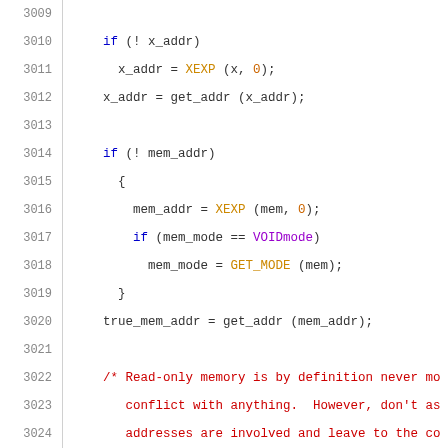3009 (line truncated)
3010     if (! x_addr)
3011       x_addr = XEXP (x, 0);
3012     x_addr = get_addr (x_addr);
3013
3014     if (! mem_addr)
3015       {
3016         mem_addr = XEXP (mem, 0);
3017         if (mem_mode == VOIDmode)
3018           mem_mode = GET_MODE (mem);
3019       }
3020     true_mem_addr = get_addr (mem_addr);
3021
3022     /* Read-only memory is by definition never mo
3023        conflict with anything.  However, don't as
3024        addresses are involved and leave to the co
3025        dependence.  We don't expect to find read-
3026        stupid user tricks can produce them, so do
3027     if (MEM_READONLY_P (x)
3028         && GET_CODE (x_addr) != AND
3029         && GET_CODE (true_mem_addr) != AND)
3030       return 0;